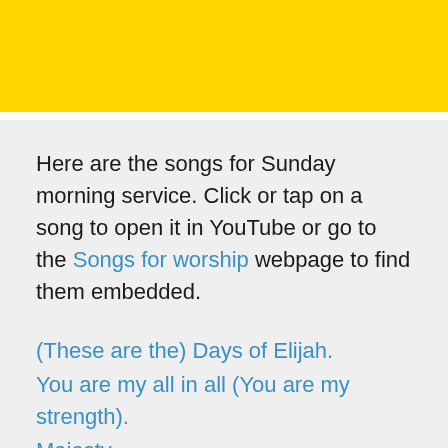[Figure (other): Yellow banner at top of page, partially visible]
Here are the songs for Sunday morning service. Click or tap on a song to open it in YouTube or go to the Songs for worship webpage to find them embedded.
(These are the) Days of Elijah.
You are my all in all (You are my strength).
Majesty...